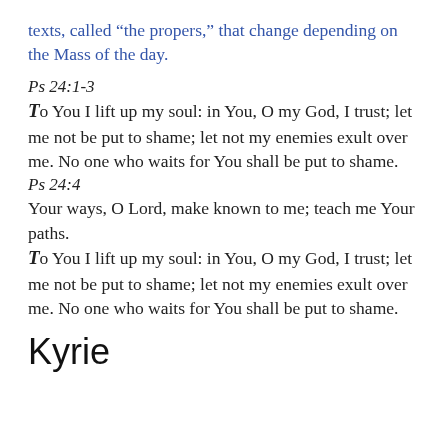texts, called “the propers,” that change depending on the Mass of the day.
Ps 24:1-3
To You I lift up my soul: in You, O my God, I trust; let me not be put to shame; let not my enemies exult over me. No one who waits for You shall be put to shame.
Ps 24:4
Your ways, O Lord, make known to me; teach me Your paths.
To You I lift up my soul: in You, O my God, I trust; let me not be put to shame; let not my enemies exult over me. No one who waits for You shall be put to shame.
Kyrie